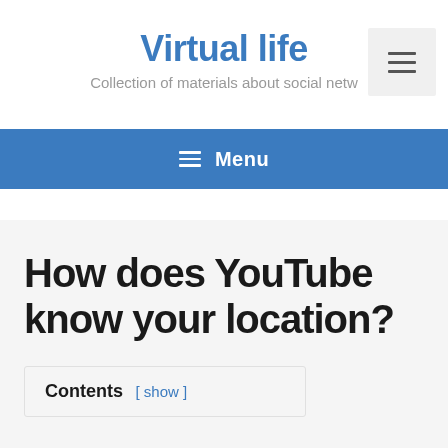Virtual life
Collection of materials about social netw…
[Figure (other): Hamburger menu toggle button icon in grey square]
☰ Menu
How does YouTube know your location?
Contents [ show ]